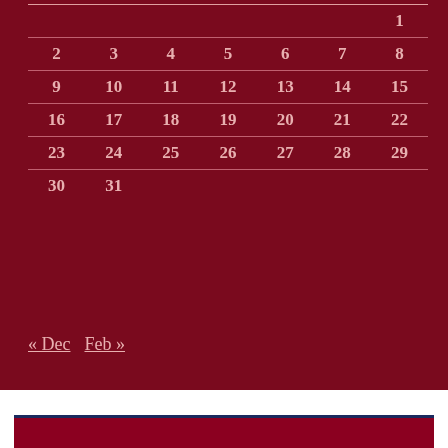|  |  |  |  |  |  |  |
| --- | --- | --- | --- | --- | --- | --- |
|  |  |  |  |  |  | 1 |
| 2 | 3 | 4 | 5 | 6 | 7 | 8 |
| 9 | 10 | 11 | 12 | 13 | 14 | 15 |
| 16 | 17 | 18 | 19 | 20 | 21 | 22 |
| 23 | 24 | 25 | 26 | 27 | 28 | 29 |
| 30 | 31 |  |  |  |  |  |
« Dec   Feb »